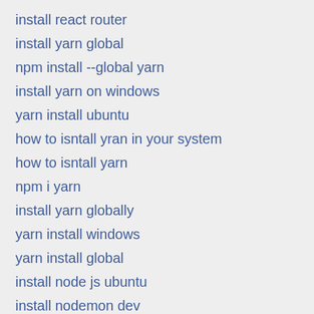install react router
install yarn global
npm install --global yarn
install yarn on windows
yarn install ubuntu
how to isntall yran in your system
how to isntall yarn
npm i yarn
install yarn globally
yarn install windows
yarn install global
install node js ubuntu
install nodemon dev
install nodemon globally